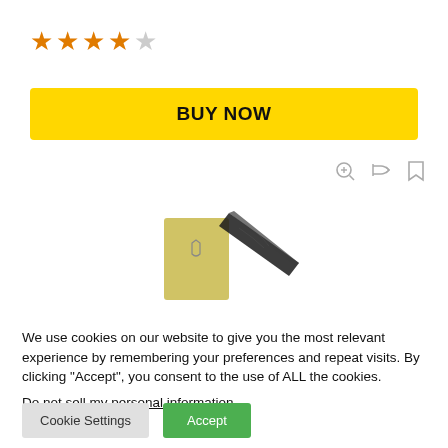[Figure (other): Star rating showing 4 out of 5 stars (4 filled orange stars, 1 empty gray star)]
[Figure (other): Yellow BUY NOW button]
[Figure (other): Icons: zoom, shuffle/compare, bookmark]
[Figure (photo): Product image showing a yellow box with a shield logo and a knife with damascus steel blade]
We use cookies on our website to give you the most relevant experience by remembering your preferences and repeat visits. By clicking “Accept”, you consent to the use of ALL the cookies.
Do not sell my personal information.
[Figure (other): Cookie Settings button (gray) and Accept button (green)]